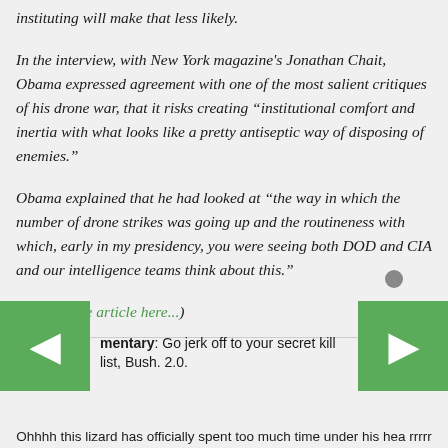instituting will make that less likely.
In the interview, with New York magazine's Jonathan Chait, Obama expressed agreement with one of the most salient critiques of his drone war, that it risks creating “institutional comfort and inertia with what looks like a pretty antiseptic way of disposing of enemies.”
Obama explained that he had looked at “the way in which the number of drone strikes was going up and the routineness with which, early in my presidency, you were seeing both DOD and CIA and our intelligence teams think about this.”
(Read entire article here...)
mentary: Go jerk off to your secret kill list, Bush. 2.0.
Ohhhh this lizard has officially spent too much time under his hea rrrrr